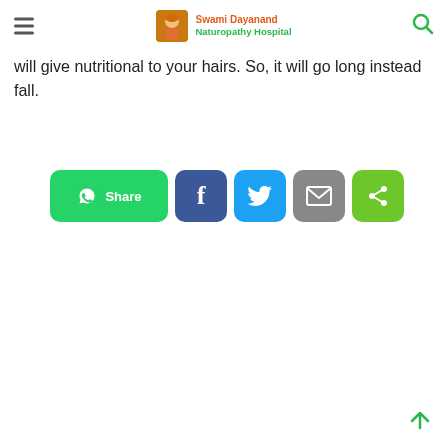Swami Dayanand Naturopathy Hospital
will give nutritional to your hairs. So, it will go long instead fall.
[Figure (other): Social share buttons row: WhatsApp Share, Facebook, Twitter, Email, and generic share icons]